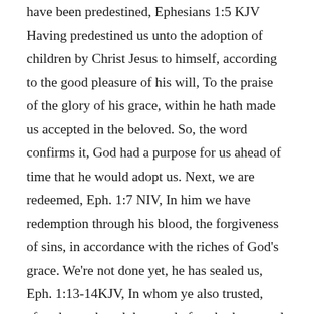have been predestined, Ephesians 1:5 KJV Having predestined us unto the adoption of children by Christ Jesus to himself, according to the good pleasure of his will, To the praise of the glory of his grace, within he hath made us accepted in the beloved. So, the word confirms it, God had a purpose for us ahead of time that he would adopt us. Next, we are redeemed, Eph. 1:7 NIV, In him we have redemption through his blood, the forgiveness of sins, in accordance with the riches of God's grace. We're not done yet, he has sealed us, Eph. 1:13-14KJV, In whom ye also trusted, after that ye heard the word of truth, the gospel of your salvation: in whom also after that ye believed, ye were sealed with that holy Spirit of promise, Which is the earnest of our inheritance until the redemption of the purchased